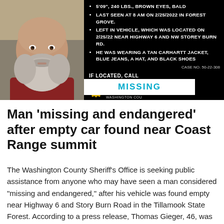[Figure (photo): Missing person flyer showing a bearded man's face on the left, and on the right a black background with bullet-pointed physical description details: 5'09", 240 LBS., BROWN EYES, BALD; LAST SEEN AT 8 AM ON 2/25/2022 IN FOREST GROVE; LEFT IN VEHICLE, WHICH WAS LOCATED ON 2/25/22 NEAR HIGHWAY 6 AND NW STOREY BURN RD.; HE WAS WEARING A TAN CARHARTT JACKET, BLUE JEANS, A HAT, AND BLACK SHOES. Case No. 50-22-308. IF LOCATED, CALL. Sheriff Washington County logo. 'MISSING' text in teal on white banner.]
Man ‘missing and endangered’ after empty car found near Coast Range summit
The Washington County Sheriff’s Office is seeking public assistance from anyone who may have seen a man considered “missing and endangered,” after his vehicle was found empty near Highway 6 and Story Burn Road in the Tillamook State Forest. According to a press release, Thomas Gieger, 46, was reported missing [Read More...]